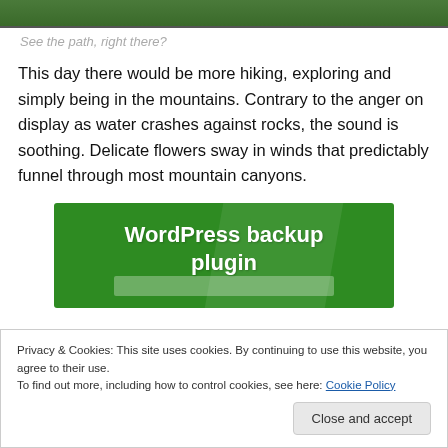[Figure (photo): Partial view of a forest/mountain path photo, cropped at the top of the page]
See the path, right there?
This day there would be more hiking, exploring and simply being in the mountains. Contrary to the anger on display as water crashes against rocks, the sound is soothing. Delicate flowers sway in winds that predictably funnel through most mountain canyons.
[Figure (infographic): Green advertisement banner reading 'WordPress backup plugin']
Privacy & Cookies: This site uses cookies. By continuing to use this website, you agree to their use.
To find out more, including how to control cookies, see here: Cookie Policy
Close and accept